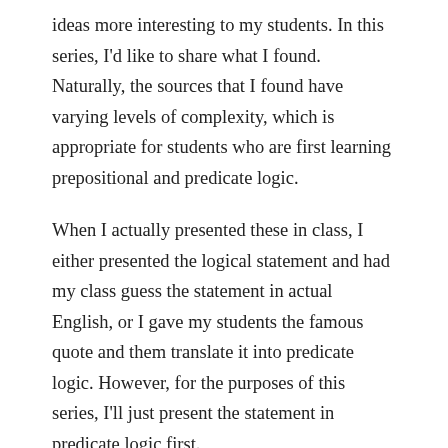ideas more interesting to my students. In this series, I'd like to share what I found. Naturally, the sources that I found have varying levels of complexity, which is appropriate for students who are first learning prepositional and predicate logic.
When I actually presented these in class, I either presented the logical statement and had my class guess the statement in actual English, or I gave my students the famous quote and them translate it into predicate logic. However, for the purposes of this series, I'll just present the statement in predicate logic first.
Share this: